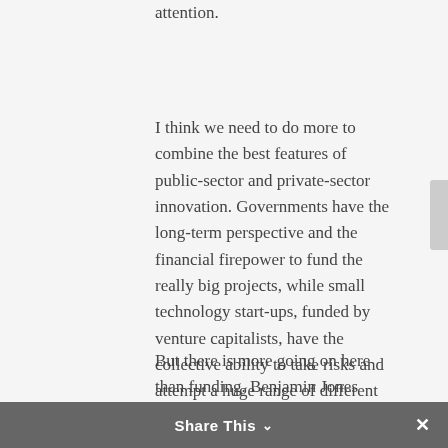attention.
I think we need to do more to combine the best features of public-sector and private-sector innovation. Governments have the long-term perspective and the financial firepower to fund the really big projects, while small technology start-ups, funded by venture capitalists, have the collective ability to take risks and attempt a huge range of different approaches. It should not be beyond human ingenuity to devise government grants that are more pluralistic and take bigger risks.
But there is more going on here than funding. Benjamin Jones points out that scientific institutions and science policy have yet to
Share This ∨  ✕